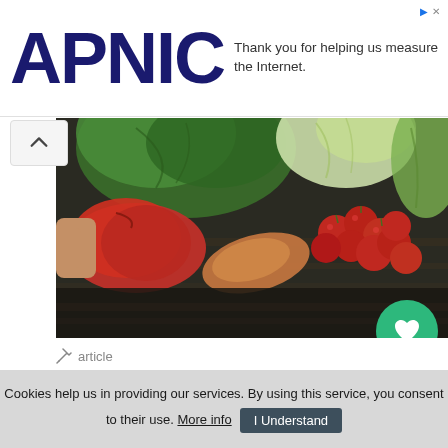[Figure (logo): APNIC logo in dark navy blue bold text]
Thank you for helping us measure the Internet.
[Figure (photo): Overhead photo of fresh seasonal vegetables including red peppers, tomatoes, cabbage, fennel, and other produce arranged on a rustic wooden surface]
article
Top 5 seasonal vegetable recipes for September 2020...
Cookies help us in providing our services. By using this service, you consent to their use. More info | I Understand